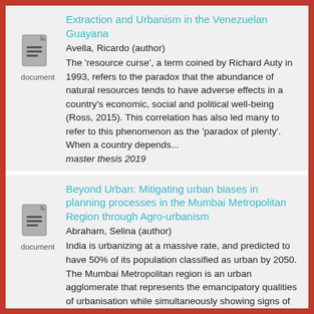Extraction and Urbanism in the Venezuelan Guayana
Avella, Ricardo (author)
The 'resource curse', a term coined by Richard Auty in 1993, refers to the paradox that the abundance of natural resources tends to have adverse effects in a country's economic, social and political well-being (Ross, 2015). This correlation has also led many to refer to this phenomenon as the 'paradox of plenty'. When a country depends...
master thesis 2019
[Figure (illustration): Document icon with lines, labeled 'document']
Beyond Urban: Mitigating urban biases in planning processes in the Mumbai Metropolitan Region through Agro-urbanism
Abraham, Selina (author)
India is urbanizing at a massive rate, and predicted to have 50% of its population classified as urban by 2050. The Mumbai Metropolitan region is an urban agglomerate that represents the emancipatory qualities of urbanisation while simultaneously showing signs of urban decay that reflects a poor urban strategy. This urban decay is
[Figure (illustration): Document icon with lines, labeled 'document']